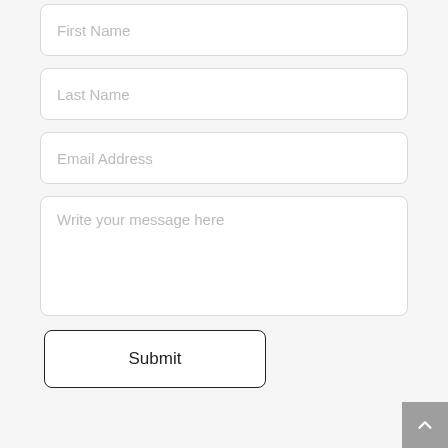First Name
Last Name
Email Address
Write your message here
Submit